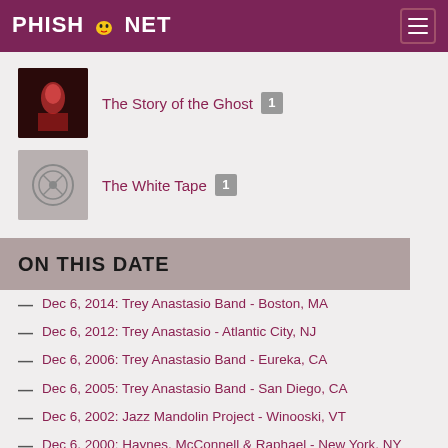PHISH.NET
[Figure (photo): Album cover thumbnail for The Story of the Ghost - dark reddish image]
The Story of the Ghost 1
[Figure (photo): Album cover thumbnail for The White Tape - gray with circular logo]
The White Tape 1
ON THIS DATE
Dec 6, 2014: Trey Anastasio Band - Boston, MA
Dec 6, 2012: Trey Anastasio - Atlantic City, NJ
Dec 6, 2006: Trey Anastasio Band - Eureka, CA
Dec 6, 2005: Trey Anastasio Band - San Diego, CA
Dec 6, 2002: Jazz Mandolin Project - Winooski, VT
Dec 6, 2000: Haynes, McConnell & Raphael - New York, NY
Dec 6, 1997: Phish - Auburn Hills, MI
Dec 6, 1996: Phish - Las Vegas, NV